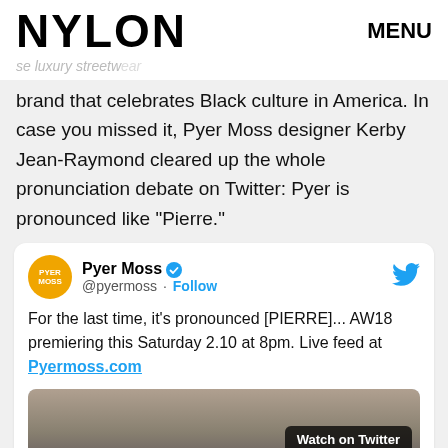NYLON   MENU
se luxury streetwear brand that celebrates Black culture in America. In case you missed it, Pyer Moss designer Kerby Jean-Raymond cleared up the whole pronunciation debate on Twitter: Pyer is pronounced like "Pierre."
[Figure (screenshot): Embedded tweet from @pyermoss (Pyer Moss, verified). Tweet text: For the last time, it's pronounced [PIERRE]... AW18 premiering this Saturday 2.10 at 8pm. Live feed at Pyermoss.com. Includes a Watch on Twitter video thumbnail.]